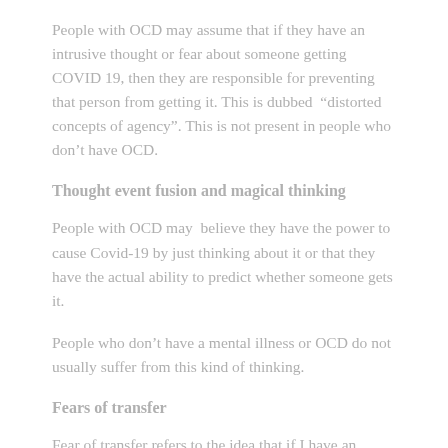People with OCD may assume that if they have an intrusive thought or fear about someone getting COVID 19, then they are responsible for preventing that person from getting it. This is dubbed “distorted concepts of agency”. This is not present in people who don’t have OCD.
Thought event fusion and magical thinking
People with OCD may believe they have the power to cause Covid-19 by just thinking about it or that they have the actual ability to predict whether someone gets it.
People who don’t have a mental illness or OCD do not usually suffer from this kind of thinking.
Fears of transfer
Fear of transfer refers to the idea that if I have an